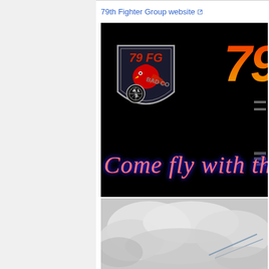79th Fighter Group website [external link]
[Figure (screenshot): 79th Fighter Group website banner image on black background showing 79 FG Bad Co shield/badge logo on the left, large partially visible '79' text in red-orange gradient on the right, and 'Come fly with th...' text in pink-red cursive script at the bottom]
[Figure (photo): Partially visible photo of aircraft contrails against a cloudy sky, bottom portion of the website screenshot]